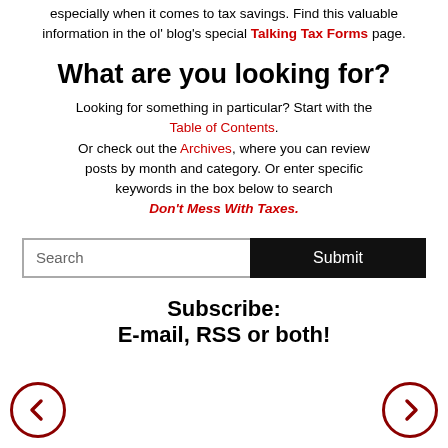especially when it comes to tax savings. Find this valuable information in the ol' blog's special Talking Tax Forms page.
What are you looking for?
Looking for something in particular? Start with the Table of Contents. Or check out the Archives, where you can review posts by month and category. Or enter specific keywords in the box below to search Don't Mess With Taxes.
Search | Submit
Subscribe:
E-mail, RSS or both!